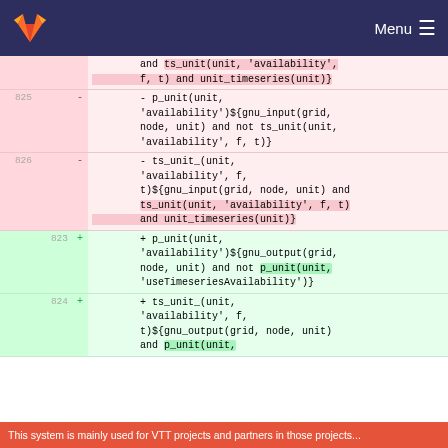GitLab Menu
and ts_unit(unit, 'availability', f, t) and unit_timeseries(unit)}
825 - - p_unit(unit, 'availability')${gnu_input(grid, node, unit) and not ts_unit(unit, 'availability', f, t)}
826 - - ts_unit_(unit, 'availability', f, t)${gnu_input(grid, node, unit) and ts_unit(unit, 'availability', f, t) and unit_timeseries(unit)}
823 + + p_unit(unit, 'availability')${gnu_output(grid, node, unit) and not p_unit(unit, 'useTimeseriesAvailability')}
824 + + ts_unit_(unit, 'availability', f, t)${gnu_output(grid, node, unit) and p_unit(unit,
This system is mainly used for VTT projects and partners in those projects...